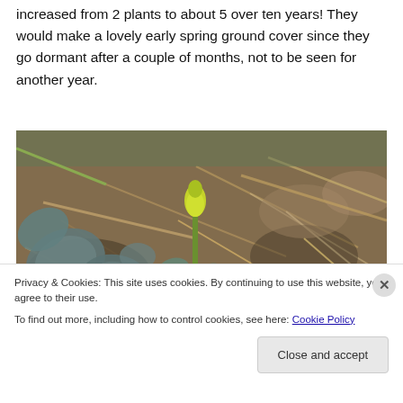increased from 2 plants to about 5 over ten years! They would make a lovely early spring ground cover since they go dormant after a couple of months, not to be seen for another year.
[Figure (photo): Close-up photograph of early spring plants emerging from leaf litter on the ground, with blue-green rounded leaves and a single yellow flower bud on a green stem]
Privacy & Cookies: This site uses cookies. By continuing to use this website, you agree to their use.
To find out more, including how to control cookies, see here: Cookie Policy
Close and accept